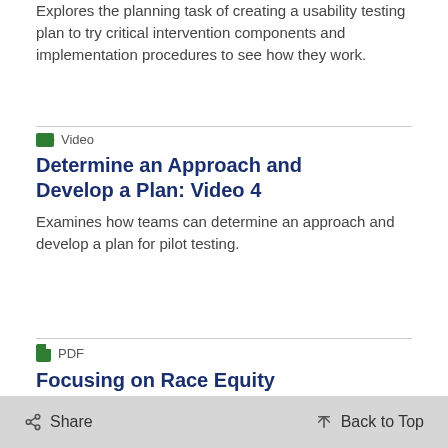Explores the planning task of creating a usability testing plan to try critical intervention components and implementation procedures to see how they work.
Video
Determine an Approach and Develop a Plan: Video 4
Examines how teams can determine an approach and develop a plan for pilot testing.
PDF
Focusing on Race Equity Throughout Change and Implementation
Share   Back to Top